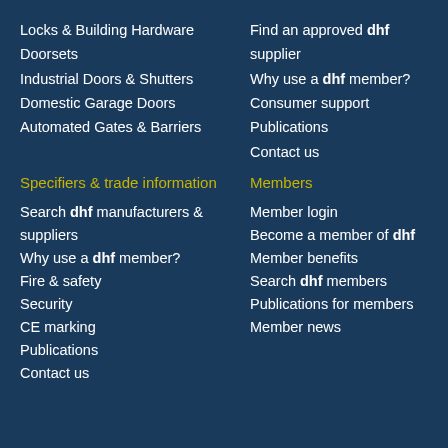Locks & Building Hardware
Doorsets
Industrial Doors & Shutters
Domestic Garage Doors
Automated Gates & Barriers
Find an approved dhf supplier
Why use a dhf member?
Consumer support
Publications
Contact us
Specifiers & trade information
Members
Search dhf manufacturers & suppliers
Why use a dhf member?
Fire & safety
Security
CE marking
Publications
Contact us
Member login
Become a member of dhf
Member benefits
Search dhf members
Publications for members
Member news